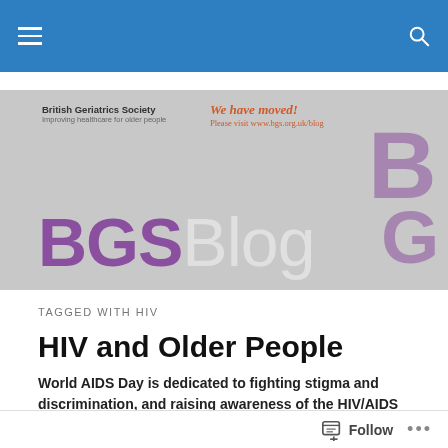Navigation bar with hamburger menu and search icon
[Figure (logo): BGS Blog banner with British Geriatrics Society logo, 'We have moved!' notice in red/orange, and BGSBlog text in purple and grey on a grey background]
TAGGED WITH HIV
HIV and Older People
World AIDS Day is dedicated to fighting stigma and discrimination, and raising awareness of the HIV/AIDS
Follow ...